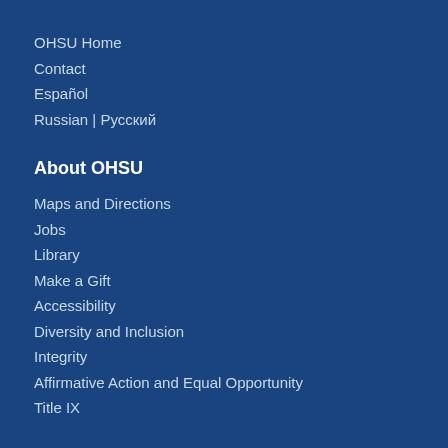OHSU Home
Contact
Español
Russian | Русский
About OHSU
Maps and Directions
Jobs
Library
Make a Gift
Accessibility
Diversity and Inclusion
Integrity
Affirmative Action and Equal Opportunity
Title IX
Patient Resources
Billing and Insurance
Find a Doctor